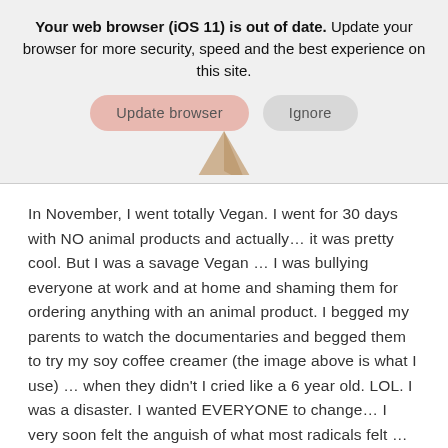Your web browser (iOS 11) is out of date. Update your browser for more security, speed and the best experience on this site.
[Figure (screenshot): Two buttons: 'Update browser' (pink/salmon rounded button) and 'Ignore' (gray rounded button)]
[Figure (photo): Partial image of what appears to be a product container, visible at top edge.]
In November, I went totally Vegan. I went for 30 days with NO animal products and actually… it was pretty cool. But I was a savage Vegan … I was bullying everyone at work and at home and shaming them for ordering anything with an animal product. I begged my parents to watch the documentaries and begged them to try my soy coffee creamer (the image above is what I use) … when they didn't I cried like a 6 year old. LOL. I was a disaster. I wanted EVERYONE to change… I very soon felt the anguish of what most radicals felt …